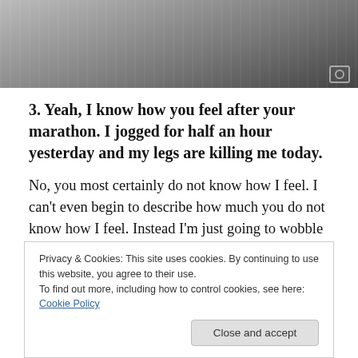[Figure (photo): Partial photo of a person in a pinstripe suit jacket, cropped at the top of the page. A small camera icon is visible in the bottom-right corner of the image.]
3. Yeah, I know how you feel after your marathon. I jogged for half an hour yesterday and my legs are killing me today.
No, you most certainly do not know how I feel. I can't even begin to describe how much you do not know how I feel. Instead I'm just going to wobble away from you so you don't have to see the rage in my eyes.
Privacy & Cookies: This site uses cookies. By continuing to use this website, you agree to their use.
To find out more, including how to control cookies, see here: Cookie Policy
Close and accept